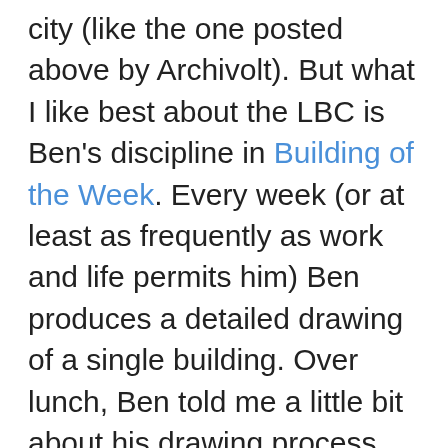city (like the one posted above by Archivolt). But what I like best about the LBC is Ben's discipline in Building of the Week. Every week (or at least as frequently as work and life permits him) Ben produces a detailed drawing of a single building. Over lunch, Ben told me a little bit about his drawing process, which is pretty neat. Ben started sketching Lancaster scenes on manilla folders. Slowly this developed into a format. After completing the sketch, Ben cuts out the sky, providing excellent contrast and framing for the work. On this blog, I've occassionally been critical of photographic projects (like Flickr communities) because they lack documentational discipline. Ben's LBC is quite the opposite. The weekly drawing provides the foundation for a well-